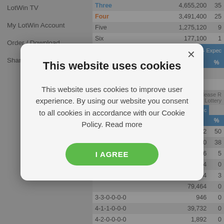LotWin TV
My LotWin Account
Order / Download
Share LotWin
|  | Lines | % |
| --- | --- | --- |
| Three | 4,655,200 | 35 |
| Four | 3,491,400 | 25 |
| Five | 1,275,120 | 9 |
| Six | 177,100 | 1 |
| Low Numbers ? | - Expec |  |
| --- | --- | --- |
|  | Lines | % |
| None |  |  |
| One |  |  |
|  | - Expec |  |
| --- | --- | --- |
|  | nes | % |
|  | 059,052 | 50 |
|  | 430,040 | 38 |
|  | 814,506 | 5 |
|  | 13,244 | 0 |
|  | 543,004 | 3 |
|  | 79,464 | 0 |
| 3-3-0-0-0-0 | 946 | 0 |
| 4-1-1-0-0-0 | 39,732 | 0 |
| 4-2-0-0-0-0 | 1,892 | 0 |
| 5-1-0-0-0-0 | 1,892 | 0 |
| 6-0-0-0-0-0 | 44 | 0 |
| Width of Line ? | - Expec |  |
| --- | --- | --- |
|  | Lines | % |
| 5 - 15 |  |  |
[Figure (screenshot): Cookie consent modal dialog overlaying a website's lottery statistics page. The modal has a white rounded rectangle with a close button (×), title 'This website uses cookies', body text explaining cookie usage and consent, and a green 'I AGREE' button.]
This website uses cookies
This website uses cookies to improve user experience. By using our website you consent to all cookies in accordance with our Cookie Policy. Read more
I AGREE